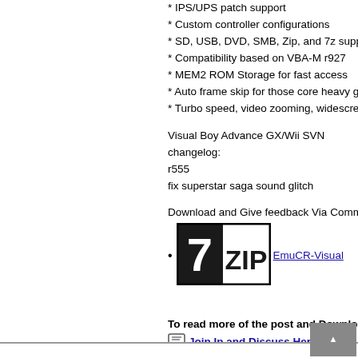* IPS/UPS patch support
* Custom controller configurations
* SD, USB, DVD, SMB, Zip, and 7z support
* Compatibility based on VBA-M r927
* MEM2 ROM Storage for fast access
* Auto frame skip for those core heavy games
* Turbo speed, video zooming, widescreen, an
Visual Boy Advance GX/Wii SVN changelog:
r555
fix superstar saga sound glitch
Download and Give feedback Via Comments
[Figure (logo): 7-ZIP logo — black and white box with '7' and 'ZIP' text]
EmuCR-Visual
To read more of the post and Download, cli
Join In and Discuss Here
Submit News and Releases Here and Contact
1964 SVN r145